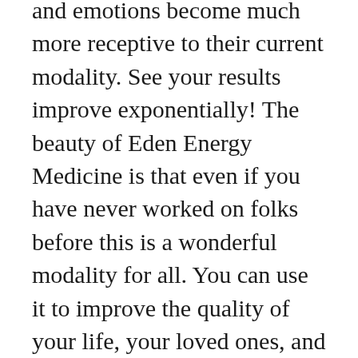and emotions become much more receptive to their current modality. See your results improve exponentially! The beauty of Eden Energy Medicine is that even if you have never worked on folks before this is a wonderful modality for all. You can use it to improve the quality of your life, your loved ones, and if you choose, you can use it to start your own practice.
After each class, you will leave with tools to improve your own health, and clear ways to apply them to your friends, family, and clients. You will also gain a basic understanding of the concepts of energetic healing. Through each class your toolbox will expand, giving you more and more ways to